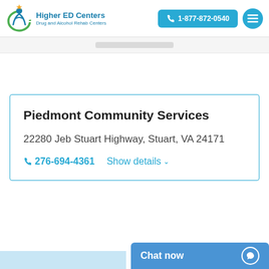[Figure (logo): Higher ED Centers logo with person figure and green/orange circle, blue text reading 'Higher ED Centers' and subtitle 'Drug and Alcohol Rehab Centers']
1-877-872-0540
Piedmont Community Services
22280 Jeb Stuart Highway, Stuart, VA 24171
276-694-4361  Show details